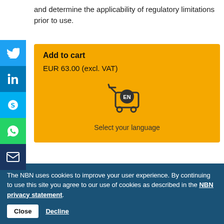and determine the applicability of regulatory limitations prior to use.
Add to cart
EUR 63.00 (excl. VAT)
[Figure (illustration): Shopping cart icon with 'EN' label badge]
Select your language
The NBN uses cookies to improve your user experience. By continuing to use this site you agree to our use of cookies as described in the NBN privacy statement.